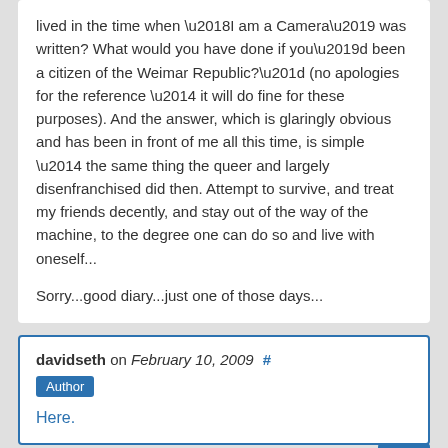lived in the time when ‘I am a Camera’ was written? What would you have done if you’d been a citizen of the Weimar Republic?” (no apologies for the reference — it will do fine for these purposes). And the answer, which is glaringly obvious and has been in front of me all this time, is simple — the same thing the queer and largely disenfranchised did then. Attempt to survive, and treat my friends decently, and stay out of the way of the machine, to the degree one can do so and live with oneself...

Sorry...good diary...just one of those days...
davidseth on February 10, 2009 #
Author
Here.
Lasthorseman on February 11, 2009 #